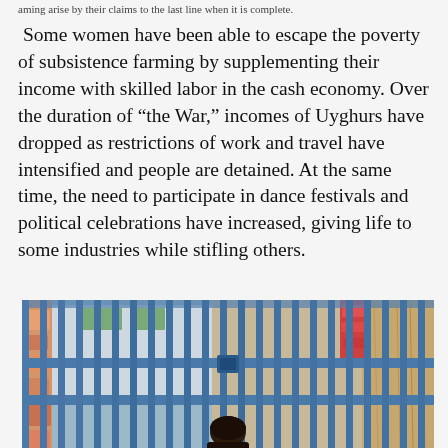aming arise by their claims to the last line when it is complete.
Some women have been able to escape the poverty of subsistence farming by supplementing their income with skilled labor in the cash economy. Over the duration of “the War,” incomes of Uyghurs have dropped as restrictions of work and travel have intensified and people are detained. At the same time, the need to participate in dance festivals and political celebrations have increased, giving life to some industries while stifling others.
[Figure (photo): Photo showing people in colorful traditional clothing standing behind blue metal fence/gate railings, with a person visible in the lower center.]